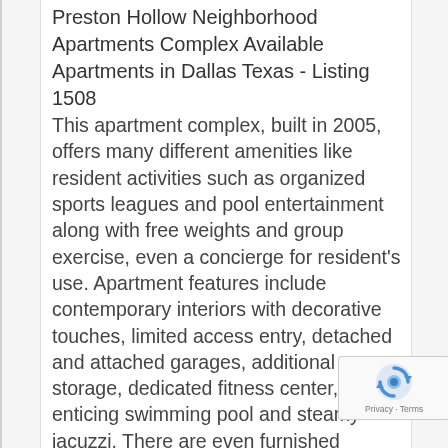Preston Hollow Neighborhood Apartments Complex Available Apartments in Dallas Texas - Listing 1508
This apartment complex, built in 2005, offers many different amenities like resident activities such as organized sports leagues and pool entertainment along with free weights and group exercise, even a concierge for resident's use. Apartment features include contemporary interiors with decorative touches, limited access entry, detached and attached garages, additional storage, dedicated fitness center, enticing swimming pool and steamy jacuzzi. There are even furnished apartments for